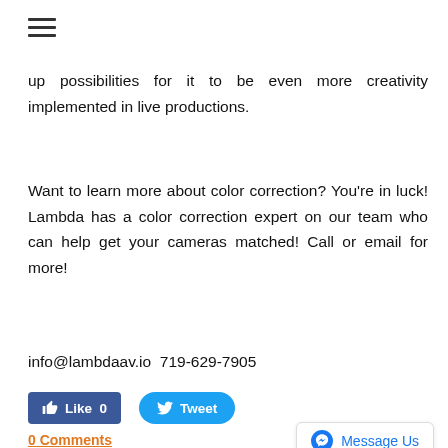[Figure (other): Hamburger menu icon (three horizontal lines)]
up possibilities for it to be even more creativity implemented in live productions.
Want to learn more about color correction? You're in luck! Lambda has a color correction expert on our team who can help get your cameras matched! Call or email for more!
info@lambdaav.io 719-629-7905
[Figure (other): Facebook Like button showing 'Like 0' and Twitter Tweet button]
0 Comments
[Figure (other): Messenger 'Message Us' widget button]